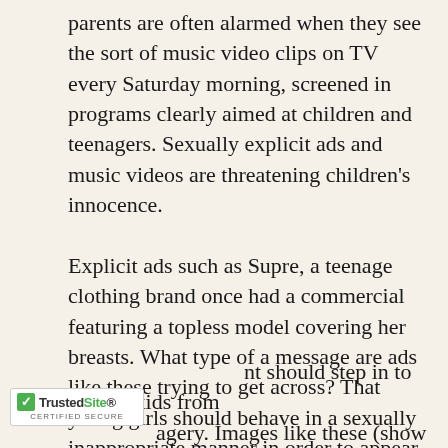parents are often alarmed when they see the sort of music video clips on TV every Saturday morning, screened in programs clearly aimed at children and teenagers. Sexually explicit ads and music videos are threatening children's innocence.

Explicit ads such as Supre, a teenage clothing brand once had a commercial featuring a topless model covering her breasts. What type of a message are ads like these trying to get across? That young girls should behave in a sexually inappropriate manner in order to appear desirable? An article in the Herald Sun by Evonne Barry and Michael Harvey on October 6, 2012 stated that the Federal [TrustedSite] nt should step in to protect kids from agery. Images like these (show
[Figure (logo): TrustedSite CERTIFIED SECURE badge/logo in the bottom-left corner]